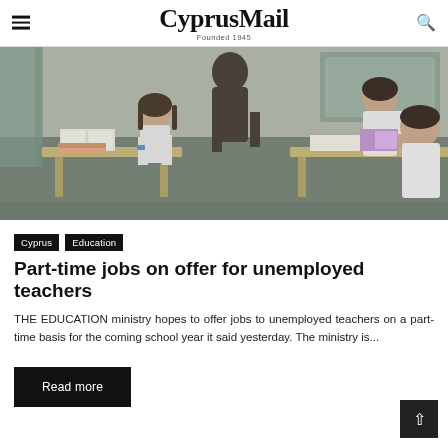CyprusMail Founded 1945
[Figure (photo): Children sitting at school desks in a classroom, reading books, with a teacher standing and assisting them. Black and white / muted color photo of a primary school classroom scene.]
Cyprus  Education
Part-time jobs on offer for unemployed teachers
THE EDUCATION ministry hopes to offer jobs to unemployed teachers on a part-time basis for the coming school year it said yesterday. The ministry is...
Read more